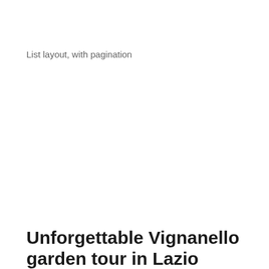List layout, with pagination
Unforgettable Vignanello garden tour in Lazio